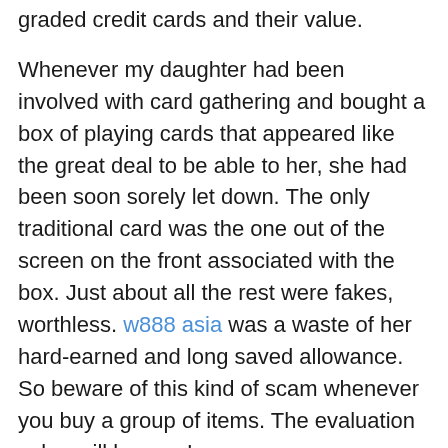The appraiser should understand to recognize graded credit cards and their value.
Whenever my daughter had been involved with card gathering and bought a box of playing cards that appeared like the great deal to be able to her, she had been soon sorely let down. The only traditional card was the one out of the screen on the front associated with the box. Just about all the rest were fakes, worthless. w888 asia was a waste of her hard-earned and long saved allowance. So beware of this kind of scam whenever you buy a group of items. The evaluation value will be zero!
Uncategorized
12 reasons why on the internet betting beats proceeding down to the gambling shop